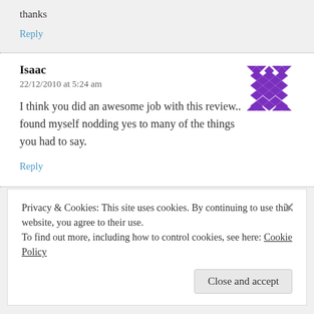thanks
Reply
Isaac
22/12/2010 at 5:24 am
[Figure (illustration): Purple pixelated avatar with diamond/bow-tie pattern]
I think you did an awesome job with this review.. i found myself nodding yes to many of the things you had to say.
Reply
Privacy & Cookies: This site uses cookies. By continuing to use this website, you agree to their use.
To find out more, including how to control cookies, see here: Cookie Policy
Close and accept